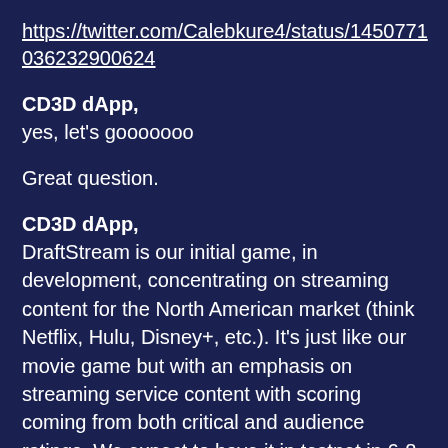https://twitter.com/Calebkure4/status/1450771036232900624
CD3D dApp,
yes, let's gooooooo
Great question.
CD3D dApp,
DraftStream is our initial game, in development, concentrating on streaming content for the North American market (think Netflix, Hulu, Disney+, etc.). It's just like our movie game but with an emphasis on streaming service content with scoring coming from both critical and audience ratings. We expect to have it in testnet in 6-8 weeks.